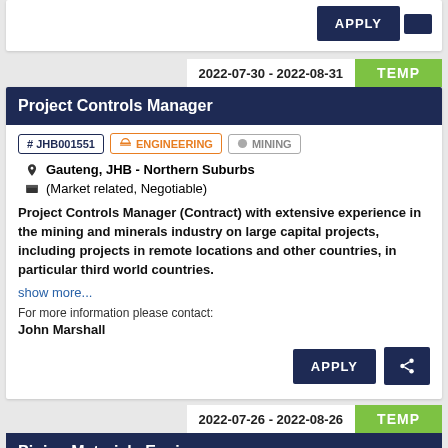[Figure (screenshot): APPLY and share buttons at top of page (partial card)]
2022-07-30 - 2022-08-31
TEMP
Project Controls Manager
# JHB001551   ENGINEERING   MINING
Gauteng, JHB - Northern Suburbs
(Market related, Negotiable)
Project Controls Manager (Contract) with extensive experience in the mining and minerals industry on large capital projects, including projects in remote locations and other countries, in particular third world countries.
show more...
For more information please contact:
John Marshall
2022-07-26 - 2022-08-26
TEMP
Piping Materials Engineer